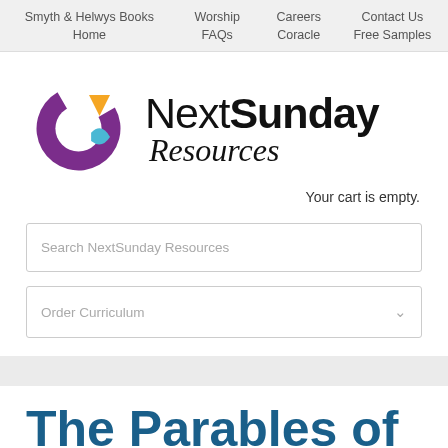Smyth & Helwys Books Home | Worship FAQs | Careers Coracle | Contact Us Free Samples
[Figure (logo): NextSunday Resources logo with colorful icon (purple, orange, cyan cross/gear shape) and stylized text]
Your cart is empty.
Search NextSunday Resources
Order Curriculum
The Parables of